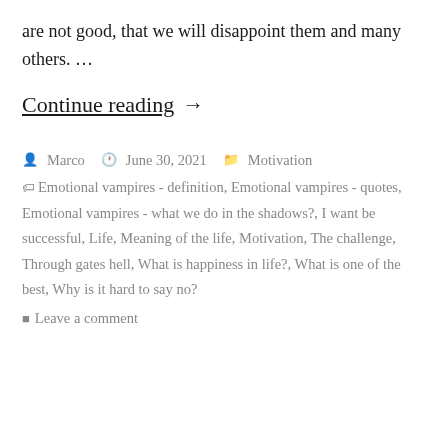are not good, that we will disappoint them and many others. …
Continue reading →
Post by Marco  June 30, 2021  Motivation  Emotional vampires - definition, Emotional vampires - quotes, Emotional vampires - what we do in the shadows?, I want be successful, Life, Meaning of the life, Motivation, The challenge, Through gates hell, What is happiness in life?, What is one of the best, Why is it hard to say no?  Leave a comment